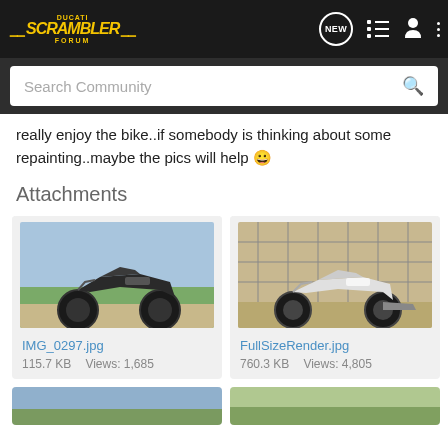Ducati Scrambler Forum — navigation header with logo and icons
Search Community
really enjoy the bike..if somebody is thinking about some repainting..maybe the pics will help 😀
Attachments
[Figure (photo): Ducati Scrambler motorcycle photo, outdoor field background, file: IMG_0297.jpg, 115.7 KB, Views: 1,685]
[Figure (photo): Ducati Scrambler motorcycle photo against chain-link fence, file: FullSizeRender.jpg, 760.3 KB, Views: 4,805]
[Figure (photo): Partial view of a third attachment image at bottom left]
[Figure (photo): Partial view of a fourth attachment image at bottom right]